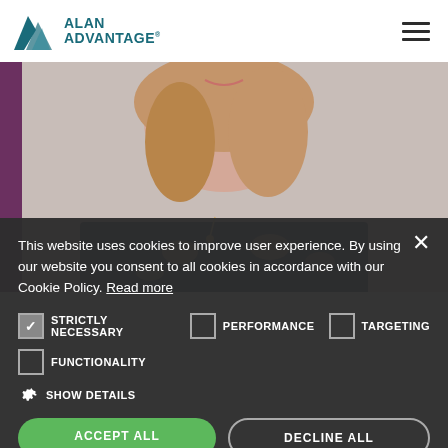[Figure (logo): Alan Advantage logo with mountain/peak icon in teal and company name in dark teal bold text]
[Figure (photo): Partial photo of a woman smiling, wearing a dark floral/butterfly print blouse, with wavy blonde hair]
This website uses cookies to improve user experience. By using our website you consent to all cookies in accordance with our Cookie Policy. Read more
STRICTLY NECESSARY  PERFORMANCE  TARGETING
FUNCTIONALITY
SHOW DETAILS
ACCEPT ALL  DECLINE ALL